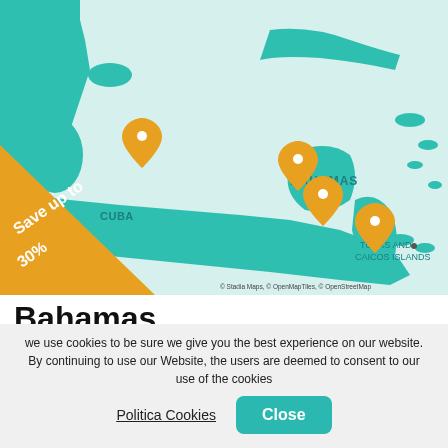[Figure (map): Map showing the Bahamas archipelago region including Cuba and Turks and Caicos Islands, with teal land masses on light blue-green ocean background. Orange location pin markers placed on several islands. Orange diagonal banner in bottom-left corner with text 'Save up to 30%'. Map attributed to Stadia Maps, OpenMapTiles, OpenStreetMap.]
Bahamas
we use cookies to be sure we give you the best experience on our website. By continuing to use our Website, the users are deemed to consent to our use of the cookies
Politica Cookies
Close